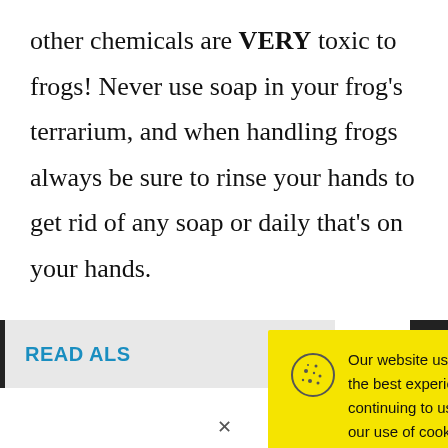other chemicals are VERY toxic to frogs! Never use soap in your frog's terrarium, and when handling frogs always be sure to rinse your hands to get rid of any soap or daily that's on your hands.
READ ALSO
[Figure (screenshot): Cookie consent popup with yellow background. Contains cookie icon, text about website cookies policy, underlined 'Cookie Policy' link, and a black 'Accept' button. A dark circular close button with 'x' appears at top right.]